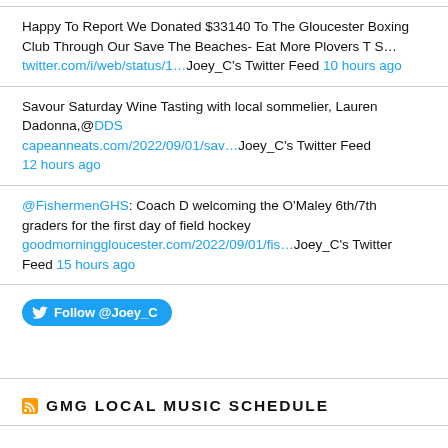Happy To Report We Donated $33140 To The Gloucester Boxing Club Through Our Save The Beaches- Eat More Plovers T S... twitter.com/i/web/status/1..Joey_C's Twitter Feed 10 hours ago
Savour Saturday Wine Tasting with local sommelier, Lauren Dadonna,@DDS capeanneats.com/2022/09/01/sav..Joey_C's Twitter Feed 12 hours ago
@FishermenGHS: Coach D welcoming the O'Maley 6th/7th graders for the first day of field hockey goodmorninggloucester.com/2022/09/01/fis..Joey_C's Twitter Feed 15 hours ago
[Figure (other): Follow @Joey_C Twitter button]
GMG LOCAL MUSIC SCHEDULE